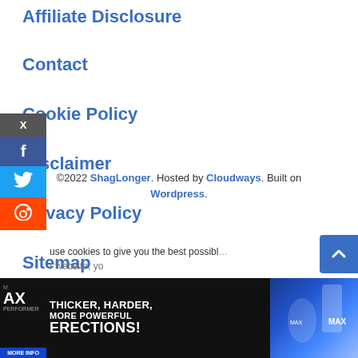Affiliate Disclosure
Contact
Cookie Policy
Disclaimer
Privacy Policy
Sitemap
©2022 ShagLonger. Hosted by Cloudways. Built on Wordpress.
[Figure (other): Advertisement banner for MAX Performer supplement: 'THICKER, HARDER, MORE POWERFUL ERECTIONS!' with product image]
[Figure (other): Social media sidebar with X (Twitter), Facebook, Twitter, Reddit icons]
[Figure (other): Scroll-to-top blue button with chevron up icon]
use cookies to give you the best possible experience. By using our website, yo